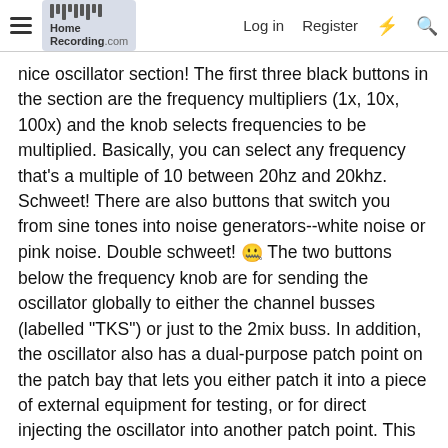HomeRecording.com | Log in | Register
nice oscillator section! The first three black buttons in the section are the frequency multipliers (1x, 10x, 100x) and the knob selects frequencies to be multiplied. Basically, you can select any frequency that's a multiple of 10 between 20hz and 20khz. Schweet! There are also buttons that switch you from sine tones into noise generators--white noise or pink noise. Double schweet! 🎤 The two buttons below the frequency knob are for sending the oscillator globally to either the channel busses (labelled "TKS") or just to the 2mix buss. In addition, the oscillator also has a dual-purpose patch point on the patch bay that lets you either patch it into a piece of external equipment for testing, or for direct injecting the oscillator into another patch point. This is very useful for testing purposes--for example, if I have a problem with a channel module and want to use a test tone to see where the signal isn't getting through, I can inject the oscillator into the mic preamp, or into the EQ section, out of the EQ section or direct into a channel fader. This has been a godsend as I test out my channels! I'd never thought much about console oscillators before but having this full-featured one